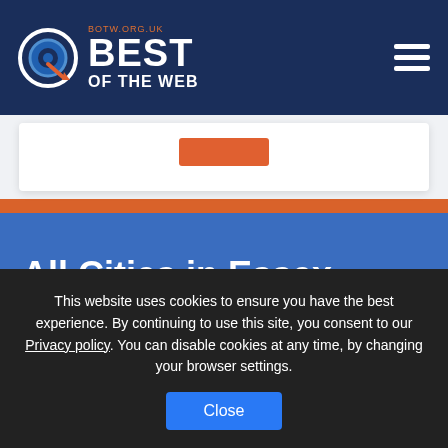[Figure (logo): Best of the Web logo with target/arrow icon, 'BEST OF THE WEB' text, and 'BOTW.ORG.UK' tagline on dark navy background]
[Figure (other): White card area with orange button partially visible, on light grey background]
All Cities in Essex
[Figure (other): Partial alphabet navigation strip with letter tabs including 'All' and individual letters A through M visible]
This website uses cookies to ensure you have the best experience. By continuing to use this site, you consent to our Privacy policy. You can disable cookies at any time, by changing your browser settings.
Close